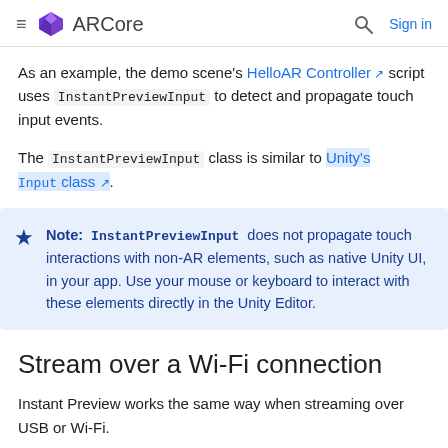≡ ARCore   🔍 Sign in
As an example, the demo scene's HelloAR Controller script uses InstantPreviewInput to detect and propagate touch input events.
The InstantPreviewInput class is similar to Unity's Input class.
Note: InstantPreviewInput does not propagate touch interactions with non-AR elements, such as native Unity UI, in your app. Use your mouse or keyboard to interact with these elements directly in the Unity Editor.
Stream over a Wi-Fi connection
Instant Preview works the same way when streaming over USB or Wi-Fi.